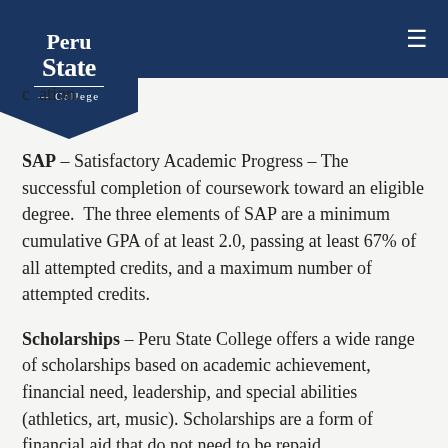Peru State College
ation.
SAP – Satisfactory Academic Progress – The successful completion of coursework toward an eligible degree. The three elements of SAP are a minimum cumulative GPA of at least 2.0, passing at least 67% of all attempted credits, and a maximum number of attempted credits.
Scholarships – Peru State College offers a wide range of scholarships based on academic achievement, financial need, leadership, and special abilities (athletics, art, music). Scholarships are a form of financial aid that do not need to be repaid.
Verification – The process colleges use to confirm that the data reported on your FAFSA form is accurate. If